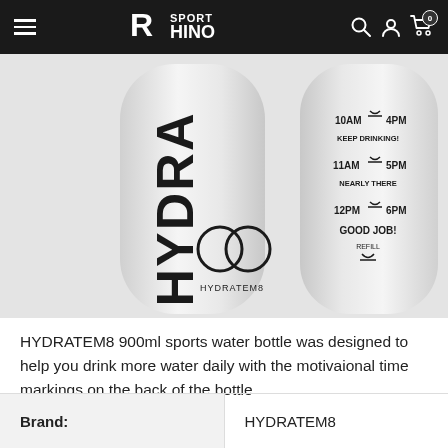Sport Rhino
[Figure (photo): Two HYDRATEM8 900ml sports water bottles — left bottle shows the front with HYDRA text and logo, right bottle shows the back with motivational time markings (10AM, 4PM, KEEP DRINKING!, 11AM, 5PM, NEARLY THERE, 12PM, 6PM, GOOD JOB! REFILL)]
HYDRATEM8 900ml sports water bottle was designed to help you drink more water daily with the motivaional time markings on the back of the bottle
| Brand: |  |
| --- | --- |
| Brand: | HYDRATEM8 |